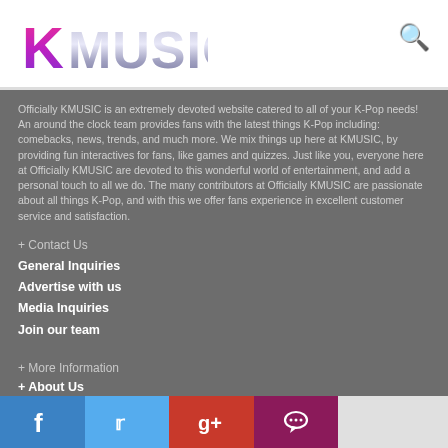[Figure (logo): KMUSIC logo in pink/purple gradient lettering on white header bar]
Officially KMUSIC is an extremely devoted website catered to all of your K-Pop needs! An around the clock team provides fans with the latest things K-Pop including: comebacks, news, trends, and much more. We mix things up here at KMUSIC, by providing fun interactives for fans, like games and quizzes. Just like you, everyone here at Officially KMUSIC are devoted to this wonderful world of entertainment, and add a personal touch to all we do. The many contributors at Officially KMUSIC are passionate about all things K-Pop, and with this we offer fans experience in excellent customer service and satisfaction.
+ Contact Us
General Inquiries
Advertise with us
Media Inquiries
Join our team
+ More Information
+ About Us
[Figure (infographic): Social media share bar with Facebook (blue), Twitter (light blue), Google+ (red), Comment (dark purple), and empty (light grey) buttons]